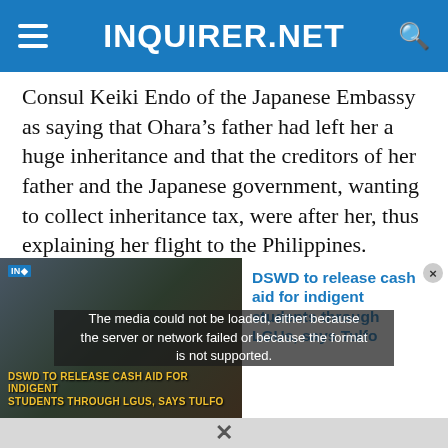INQUIRER.NET
Consul Keiki Endo of the Japanese Embassy as saying that Ohara’s father had left her a huge inheritance and that the creditors of her father and the Japanese government, wanting to collect inheritance tax, were after her, thus explaining her flight to the Philippines.
Reports that Ohara’s father was killed by the criminal syndicate Yakuza appears to be not true,
[Figure (screenshot): Media player overlay showing error message: 'The media could not be loaded, either because the server or network failed or because the format is not supported.' with a related article thumbnail on the right: 'DSWD to release cash aid for indigent students through LGUs, says Tulfo'. Background shows blurred news image with caption 'DSWD TO RELEASE CASH AID FOR INDIGENT STUDENTS THROUGH LGUS, SAYS TULFO'. Close button (x) at bottom center.]